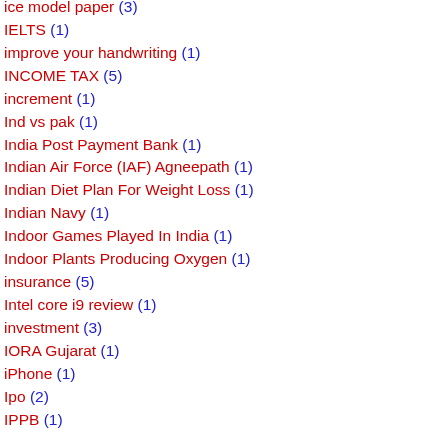ice model paper (3)
IELTS (1)
improve your handwriting (1)
INCOME TAX (5)
increment (1)
Ind vs pak (1)
India Post Payment Bank (1)
Indian Air Force (IAF) Agneepath (1)
Indian Diet Plan For Weight Loss (1)
Indian Navy (1)
Indoor Games Played In India (1)
Indoor Plants Producing Oxygen (1)
insurance (5)
Intel core i9 review (1)
investment (3)
IORA Gujarat (1)
iPhone (1)
Ipo (2)
IPPB (1)